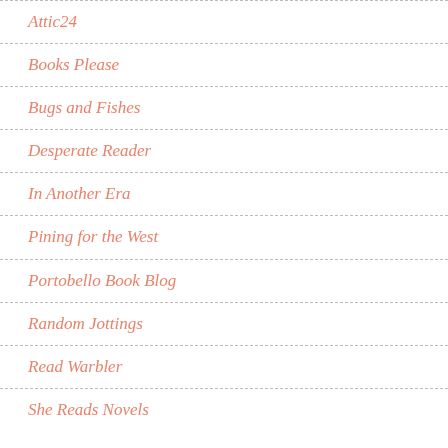Attic24
Books Please
Bugs and Fishes
Desperate Reader
In Another Era
Pining for the West
Portobello Book Blog
Random Jottings
Read Warbler
She Reads Novels